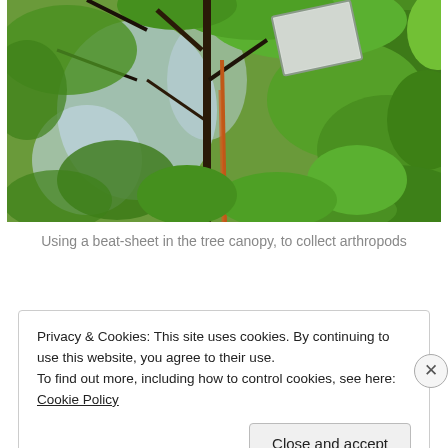[Figure (photo): Upward-looking photograph through a forest canopy with lush green leaves and tree branches. A beat-sheet (white rectangular sheet) is visible suspended among the branches, with an orange rope hanging down. Used to collect arthropods from the tree canopy.]
Using a beat-sheet in the tree canopy, to collect arthropods
Privacy & Cookies: This site uses cookies. By continuing to use this website, you agree to their use.
To find out more, including how to control cookies, see here: Cookie Policy
Close and accept